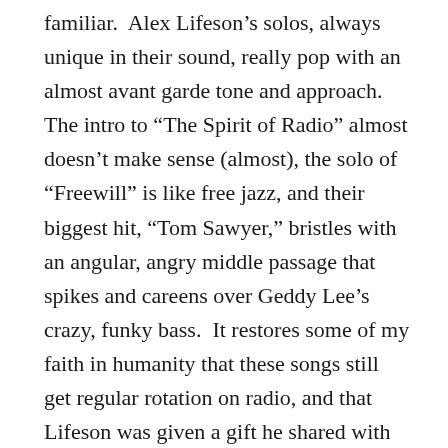familiar.  Alex Lifeson's solos, always unique in their sound, really pop with an almost avant garde tone and approach.  The intro to “The Spirit of Radio” almost doesn’t make sense (almost), the solo of “Freewill” is like free jazz, and their biggest hit, “Tom Sawyer,” bristles with an angular, angry middle passage that spikes and careens over Geddy Lee’s crazy, funky bass.  It restores some of my faith in humanity that these songs still get regular rotation on radio, and that Lifeson was given a gift he shared with the rest of us.  The tendency on these albums — produced by Terry Brown, as were the previous Peart-era Rush records — towards shorter pieces shows growth in the sense that making a brief statement is often a greater achievement than going long.  And yet the lengthier songs are among